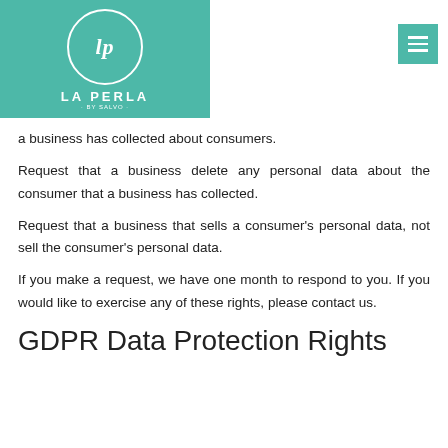[Figure (logo): La Perla logo on teal/green background with circular LP monogram and brand name]
a business has collected about consumers.
Request that a business delete any personal data about the consumer that a business has collected.
Request that a business that sells a consumer's personal data, not sell the consumer's personal data.
If you make a request, we have one month to respond to you. If you would like to exercise any of these rights, please contact us.
GDPR Data Protection Rights